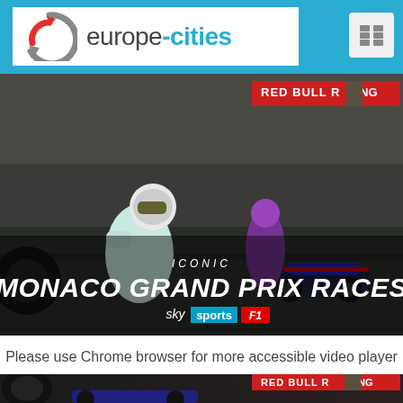[Figure (logo): europe-cities website logo with circular arrow icon in grey and red]
[Figure (photo): Formula 1 Monaco Grand Prix promotional image showing a racing driver in white Mercedes suit kneeling, with Red Bull Racing cars in the pit lane. Text overlay: ICONIC MONACO GRAND PRIX RACES with Sky Sports F1 branding]
Please use Chrome browser for more accessible video player
[Figure (photo): Bottom portion of the same Formula 1 Monaco Grand Prix image, showing cars and Red Bull Racing signage]